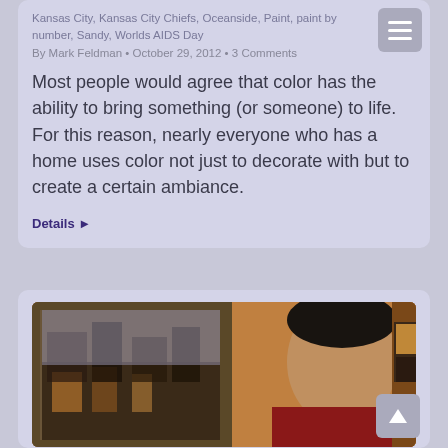Kansas City, Kansas City Chiefs, Oceanside, Paint, paint by number, Sandy, Worlds AIDS Day
By Mark Feldman • October 29, 2012 • 3 Comments
Most people would agree that color has the ability to bring something (or someone) to life. For this reason, nearly everyone who has a home uses color not just to decorate with but to create a certain ambiance.
Details ▶
[Figure (photo): A man with dark hair and goatee in a red patterned shirt, with paintings visible behind him including a cityscape painting on the left and art supplies on the right]